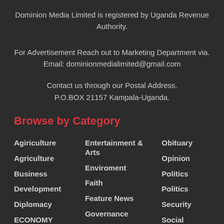Dominion Media Limited is registered by Uganda Revenue Authority.
For Advertisement Reach out to Marketing Department via.
Email: dominionmedialimited@gmail.com
Contact us through our Postal Address.
P.O.BOX 21157 Kampala-Uganda.
Browse by Category
Agiriculture
Agriculture
Business
Development
Diplomacy
ECONOMY
Entertainment & Arts
Enviroment
Faith
Feature News
Governance
Obituary
Opinion
Politics
Politics
Security
Social